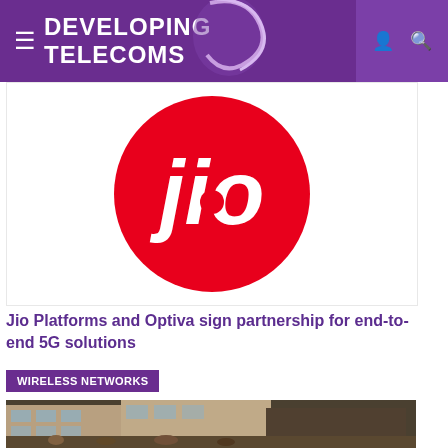DEVELOPING TELECOMS
[Figure (logo): Jio logo — red circle with white 'jio' text]
Jio Platforms and Optiva sign partnership for end-to-end 5G solutions
WIRELESS NETWORKS
[Figure (photo): Street scene in a developing country showing multi-storey buildings, market stalls and a crowd of people]